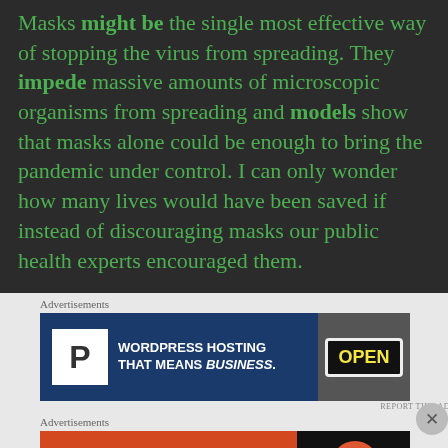Masks might be the single most effective way of stopping the virus from spreading. They impede massive amounts of microscopic organisms from spreading and models show that masks alone could be enough to bring the pandemic under control. I can only wonder how many lives would have been saved if instead of discouraging masks our public health experts encouraged them.
Advertisements
[Figure (screenshot): Advertisement banner for WordPress Hosting with text 'WORDPRESS HOSTING THAT MEANS BUSINESS.' and an OPEN sign image on the right]
REPORT THIS AD
Advertisements
[Figure (screenshot): Advertisement banner for DuckDuckGo with orange background, text 'Search, browse, and email with more privacy. All in One Free App' and DuckDuckGo logo on dark right side]